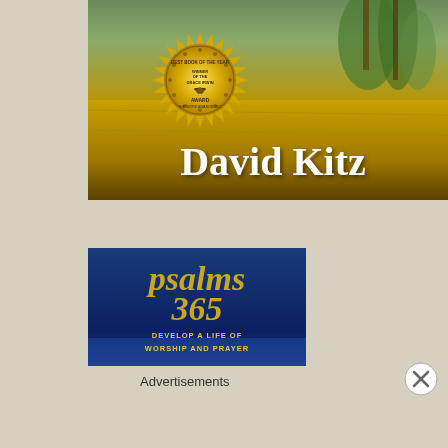[Figure (photo): Book cover image showing a river or water body with palm trees and golden/orange reflections. A gold seal reads 'Best Book of the Year, Winner of the Grace Irwin Award, The Word Awards 2021'. Text overlay reads 'David Kitz' in large white serif font.]
[Figure (photo): Book cover for 'Psalms 365' with a blue background and gold ornate text. Subtitle reads 'Develop a Life of Worship and Prayer'.]
Advertisements
[Figure (other): Close/dismiss button (X in circle) in the bottom right area.]